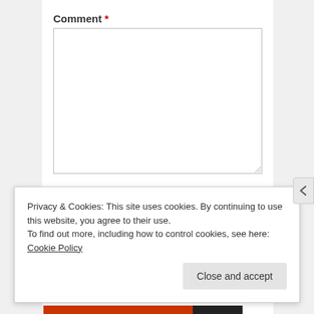Comment *
[Figure (screenshot): Empty textarea input box for comment field]
Name
[Figure (screenshot): Empty text input box for name field]
Email
Privacy & Cookies: This site uses cookies. By continuing to use this website, you agree to their use.
To find out more, including how to control cookies, see here: Cookie Policy
Close and accept